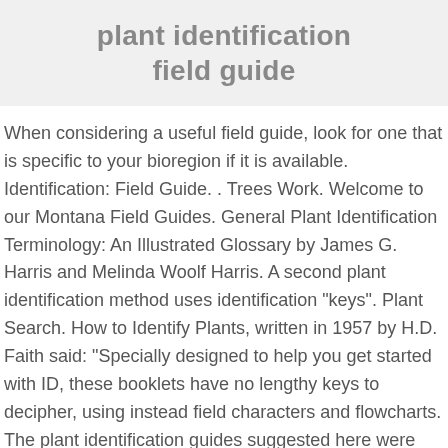plant identification field guide
When considering a useful field guide, look for one that is specific to your bioregion if it is available. Identification: Field Guide. . Trees Work. Welcome to our Montana Field Guides. General Plant Identification Terminology: An Illustrated Glossary by James G. Harris and Melinda Woolf Harris. A second plant identification method uses identification "keys". Plant Search. How to Identify Plants, written in 1957 by H.D. Faith said: "Specially designed to help you get started with ID, these booklets have no lengthy keys to decipher, using instead field characters and flowcharts. The plant identification guides suggested here were accumulated from: NRCS West Region State Rangeland Management Specialists Bureau of Land Management (BLM) National Botanists Exceptions This is a large group with species that vary widely in characteristics; some